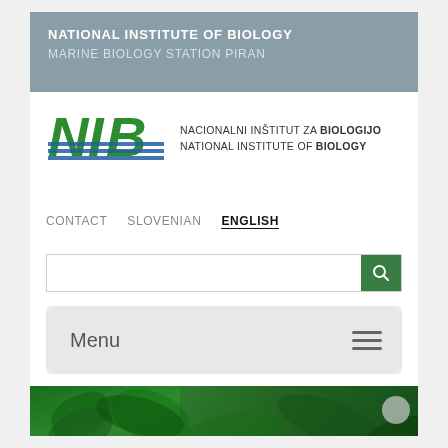NATIONAL INSTITUTE OF BIOLOGY
MARINE BIOLOGY STATION PIRAN
[Figure (logo): NIB logo with green and blue stylized letters N, I, B with horizontal blue stripes, alongside text NACIONALNI INŠTITUT ZA BIOLOGIJO / NATIONAL INSTITUTE OF BIOLOGY]
CONTACT   SLOVENIAN   ENGLISH
Search input box with green search button
Menu
[Figure (photo): Green foliage / plant background image banner]